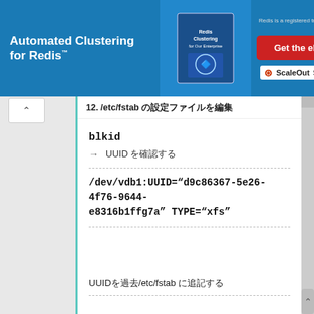[Figure (screenshot): Advertisement banner for ScaleOut Software: 'Automated Clustering for Redis' with Get the eBook button]
12. /etc/fstab の設定ファイルを編集
blkid
→    UUID を確認する
/dev/vdb1:UUID="d9c86367-5e26-4f76-9644-e8316b1ffg7a" TYPE="xfs"
UUID を/etc/fstab に追記する